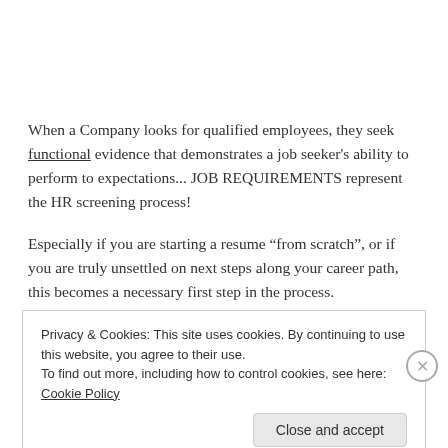When a Company looks for qualified employees, they seek functional evidence that demonstrates a job seeker's ability to perform to expectations... JOB REQUIREMENTS represent the HR screening process!
Especially if you are starting a resume “from scratch”, or if you are truly unsettled on next steps along your career path, this becomes a necessary first step in the process.
Privacy & Cookies: This site uses cookies. By continuing to use this website, you agree to their use.
To find out more, including how to control cookies, see here: Cookie Policy
Close and accept